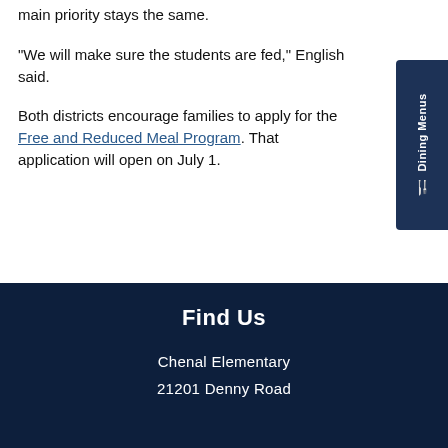main priority stays the same.
"We will make sure the students are fed," English said.
Both districts encourage families to apply for the Free and Reduced Meal Program. That application will open on July 1.
[Figure (other): Dining Menus sidebar tab with utensil icon on the right edge of the page]
Find Us
Chenal Elementary
21201 Denny Road